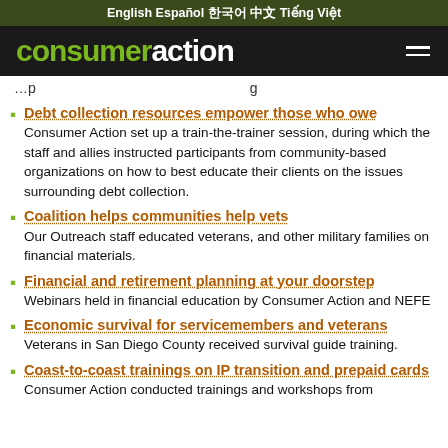English  Español  한국어  中文  Tiếng Việt
consumeraction
…p … g
Debt collection resources empower those who owe
Consumer Action set up a train-the-trainer session, during which the staff and allies instructed participants from community-based organizations on how to best educate their clients on the issues surrounding debt collection.
Coalition helps communities help vets
Our Outreach staff educated veterans, and other military families on financial materials.
Financial and retirement planning at your doorstep
Webinars held in financial education by Consumer Action and NEFE
Economic survival for servicemembers and veterans
Veterans in San Diego County received survival guide training.
Coast-to-coast trainings on IP transition and prepaid cards
Consumer Action conducted trainings and workshops from